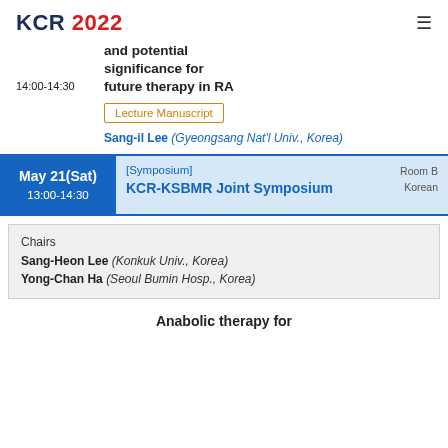KCR 2022
and potential significance for future therapy in RA
14:00-14:30
Lecture Manuscript
Sang-il Lee (Gyeongsang Nat'l Univ., Korea)
May 21(Sat) 13:00-14:30 [Symposium] KCR-KSBMR Joint Symposium Room B Korean
Chairs
Sang-Heon Lee (Konkuk Univ., Korea)
Yong-Chan Ha (Seoul Bumin Hosp., Korea)
Anabolic therapy for